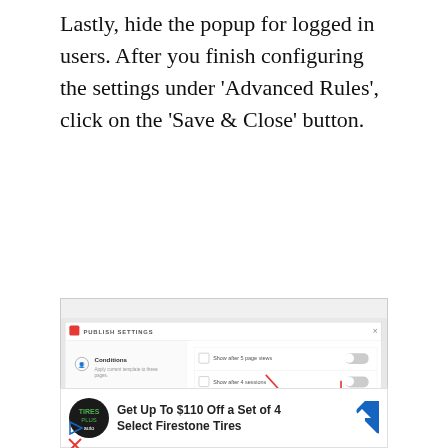Lastly, hide the popup for logged in users. After you finish configuring the settings under 'Advanced Rules', click on the 'Save & Close' button.
[Figure (screenshot): Screenshot of 'Publish Settings' dialog showing Advanced Rules section selected with red box highlight, and 'Hide for logged in users' toggle enabled with red box highlight. Red arrows point to key elements including a blue toggle switch.]
[Figure (screenshot): Advertisement banner: 'Get Up To $110 Off a Set of 4 Select Firestone Tires' with Tires Plus auto logo and a blue diamond direction icon, plus play and close icons below.]